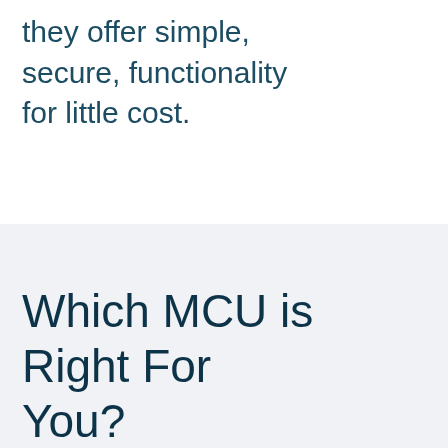they offer simple, secure, functionality for little cost.
Which MCU is Right For You?